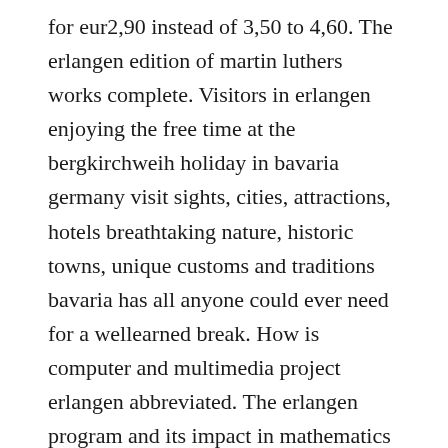for eur2,90 instead of 3,50 to 4,60. The erlangen edition of martin luthers works complete. Visitors in erlangen enjoying the free time at the bergkirchweih holiday in bavaria germany visit sights, cities, attractions, hotels breathtaking nature, historic towns, unique customs and traditions bavaria has all anyone could ever need for a wellearned break. How is computer and multimedia project erlangen abbreviated. The erlangen program and its impact in mathematics and physics. Other commercial users listed as part of the faq include. It is well